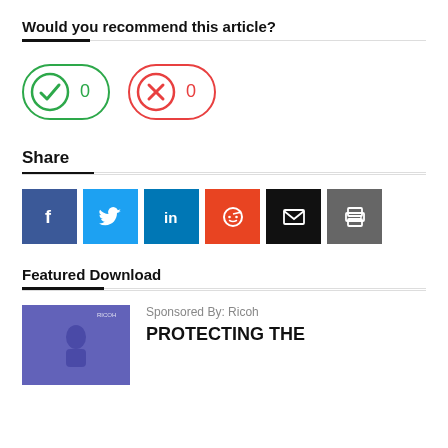Would you recommend this article?
[Figure (infographic): Two vote buttons: green checkmark button with count 0 (yes), and red X button with count 0 (no)]
Share
[Figure (infographic): Social share buttons: Facebook, Twitter, LinkedIn, Reddit, Email, Print]
Featured Download
[Figure (photo): Thumbnail image for featured download sponsored by Ricoh]
Sponsored By: Ricoh
PROTECTING THE